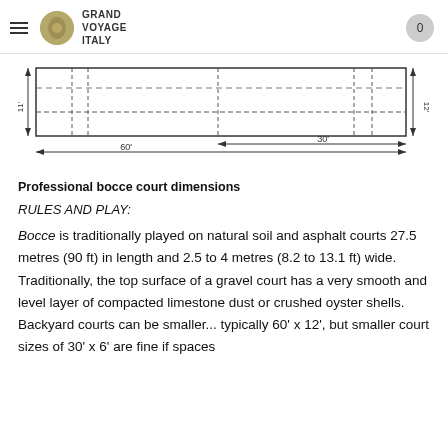Grand Voyage Italy
[Figure (engineering-diagram): Top-down diagram of a professional bocce court showing dimensions. The court is a long rectangle. Dashed lines inside show lane divisions. Dimension arrows show 60' total length along the bottom, 30' for the right half, 12' width on the right side, and 11' on the left side.]
Professional bocce court dimensions
RULES AND PLAY:
Bocce is traditionally played on natural soil and asphalt courts 27.5 metres (90 ft) in length and 2.5 to 4 metres (8.2 to 13.1 ft) wide. Traditionally, the top surface of a gravel court has a very smooth and level layer of compacted limestone dust or crushed oyster shells. Backyard courts can be smaller... typically 60' x 12', but smaller court sizes of 30' x 6' are fine if spaces